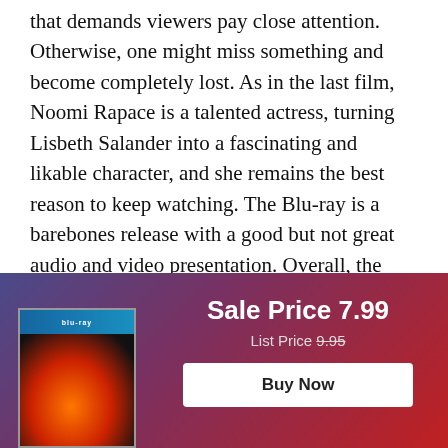that demands viewers pay close attention. Otherwise, one might miss something and become completely lost. As in the last film, Noomi Rapace is a talented actress, turning Lisbeth Salander into a fascinating and likable character, and she remains the best reason to keep watching. The Blu-ray is a barebones release with a good but not great audio and video presentation. Overall, the package will likely only attract fans with little to make it a worthwhile purchase.
[Figure (other): Promotional banner with gradient background (blue-purple to red). Left side shows a Blu-ray disc cover with blue top strip and dark body featuring flames/fire imagery. Right side shows sale pricing: Sale Price 7.99, List Price 9.95 (strikethrough), and a Buy Now button.]